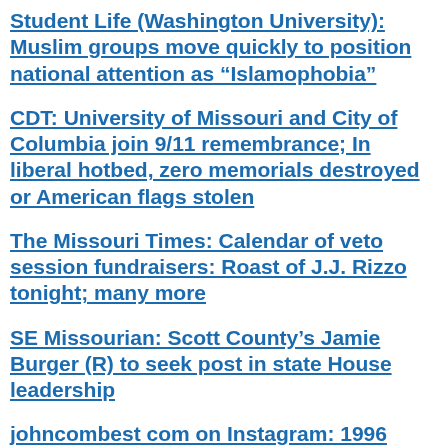Student Life (Washington University): Muslim groups move quickly to position national attention as “Islamophobia”
CDT: University of Missouri and City of Columbia join 9/11 remembrance; In liberal hotbed, zero memorials destroyed or American flags stolen
The Missouri Times: Calendar of veto session fundraisers: Roast of J.J. Rizzo tonight; many more
SE Missourian: Scott County’s Jamie Burger (R) to seek post in state House leadership
johncombest com on Instagram: 1996 state Senate campaign literature: Basye MEANS BUSINESS! (Not Chuck, but his dad.)
Missouri Independent: School districts show